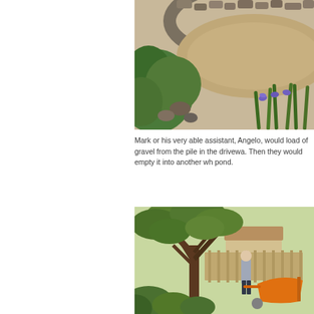[Figure (photo): Garden scene showing a dry sandy area surrounded by a stone wall/border, with green plants including irises with purple flowers in the foreground.]
Mark or his very able assistant, Angelo, would load of gravel from the pile in the driveway. Then they would empty it into another wh pond.
[Figure (photo): Person with orange wheelbarrow in a lush garden with a large multi-trunked tree, fencing and house in background.]